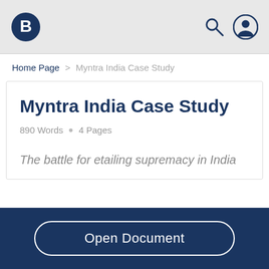Brainerd logo, search icon, user icon
Home Page > Myntra India Case Study
Myntra India Case Study
890 Words • 4 Pages
The battle for etailing supremacy in India
Open Document